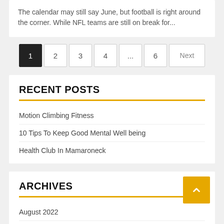The calendar may still say June, but football is right around the corner. While NFL teams are still on break for...
1  2  3  4  ...  6  Next
RECENT POSTS
Motion Climbing Fitness
10 Tips To Keep Good Mental Well being
Health Club In Mamaroneck
ARCHIVES
August 2022
July 2022